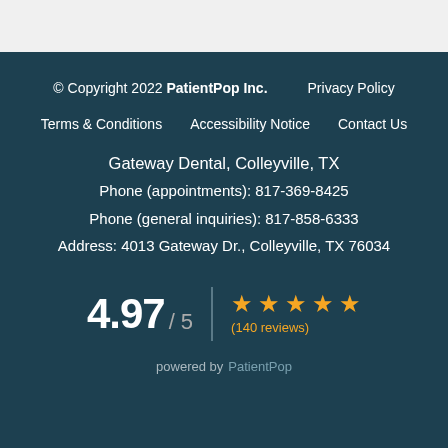© Copyright 2022 PatientPop Inc.    Privacy Policy
Terms & Conditions    Accessibility Notice    Contact Us
Gateway Dental, Colleyville, TX
Phone (appointments): 817-369-8425
Phone (general inquiries): 817-858-6333
Address: 4013 Gateway Dr., Colleyville, TX 76034
4.97 / 5  ★★★★★ (140 reviews)
powered by PatientPop